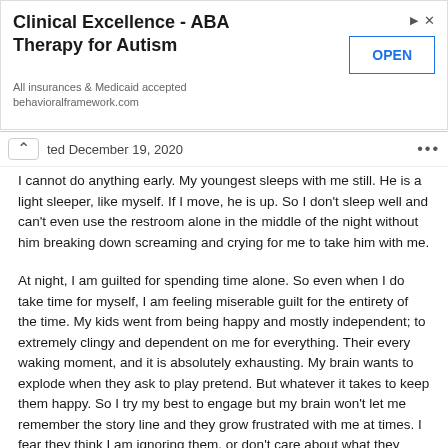[Figure (screenshot): Advertisement banner for Clinical Excellence - ABA Therapy for Autism. Shows title, OPEN button, and text: All insurances & Medicaid accepted, behavioralframework.com]
ted December 19, 2020
I cannot do anything early. My youngest sleeps with me still. He is a light sleeper, like myself. If I move, he is up. So I don't sleep well and can't even use the restroom alone in the middle of the night without him breaking down screaming and crying for me to take him with me.
At night, I am guilted for spending time alone. So even when I do take time for myself, I am feeling miserable guilt for the entirety of the time. My kids went from being happy and mostly independent; to extremely clingy and dependent on me for everything. Their every waking moment, and it is absolutely exhausting. My brain wants to explode when they ask to play pretend. But whatever it takes to keep them happy. So I try my best to engage but my brain won't let me remember the story line and they grow frustrated with me at times. I fear they think I am ignoring them, or don't care about what they have